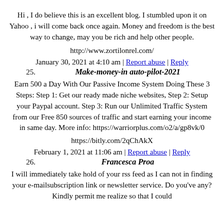Hi , I do believe this is an excellent blog. I stumbled upon it on Yahoo , i will come back once again. Money and freedom is the best way to change, may you be rich and help other people.
http://www.zortilonrel.com/
January 30, 2021 at 4:10 am | Report abuse | Reply
25. Make-money-in auto-pilot-2021
Earn 500 a Day With Our Passive Income System Doing These 3 Steps: Step 1: Get our ready made niche websites, Step 2: Setup your Paypal account. Step 3: Run our Unlimited Traffic System from our Free 850 sources of traffic and start earning your income in same day. More info: https://warriorplus.com/o2/a/gp8vk/0
https://bitly.com/2qChAkX
February 1, 2021 at 11:06 am | Report abuse | Reply
26. Francesca Proa
I will immediately take hold of your rss feed as I can not in finding your e-mailsubscription link or newsletter service. Do you've any?Kindly permit me realize so that I could